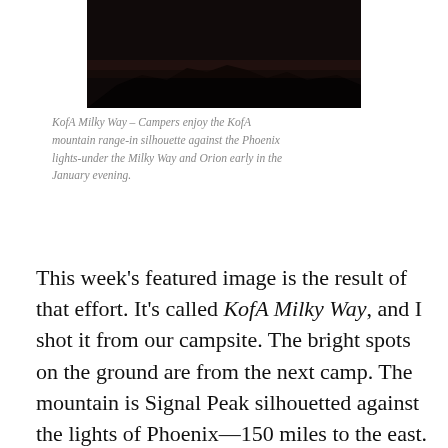[Figure (photo): Dark night sky photo showing the KofA mountain range in silhouette, very dark background.]
KofA Milky Way – Campers enjoy the KofA mountain range-in silhouette against the Phoenix lights-under the Milky Way and Orion early in the January evening.
This week's featured image is the result of that effort. It's called KofA Milky Way, and I shot it from our campsite. The bright spots on the ground are from the next camp. The mountain is Signal Peak silhouetted against the lights of Phoenix—150 miles to the east. The constellation Orion is center-right, and Pegasus with the Andromeda galaxy would be overhead, but the fire died, and the cold chased